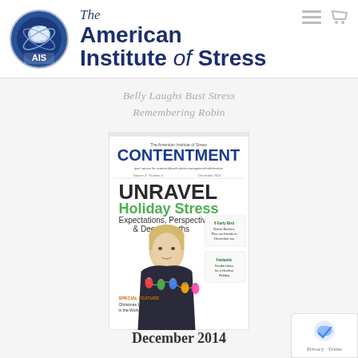The American Institute of Stress
Belly Laughs Bust Stress
Remembering Robin
[Figure (illustration): Cover of CONTENTMENT magazine, December 2014, showing UNRAVEL Holiday Stress theme with a woman wrapped in Christmas lights]
December 2014